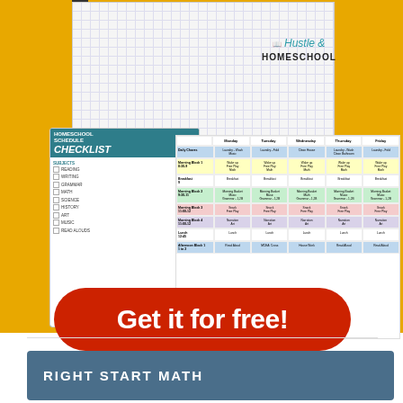[Figure (illustration): Yellow background promotional image showing a spiral notebook with 'Hustle & Homeschool' logo, overlaid with a Homeschool Schedule Checklist card with subject list, and a colorful weekly schedule grid. A large red pill-shaped button reads 'Get it for free!']
RIGHT START MATH